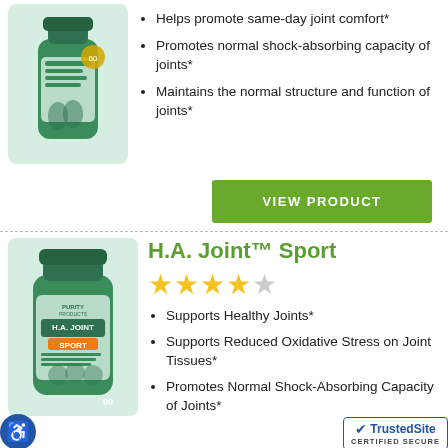[Figure (photo): Green supplement bottle - first product (top, partially visible)]
Helps promote same-day joint comfort*
Promotes normal shock-absorbing capacity of joints*
Maintains the normal structure and function of joints*
[Figure (other): VIEW PRODUCT green button]
[Figure (photo): Green H.A. Joint Sport supplement bottle by Purity Products, 90 count]
H.A. Joint™ Sport
[Figure (other): 4.5 out of 5 stars rating]
Supports Healthy Joints*
Supports Reduced Oxidative Stress on Joint Tissues*
Promotes Normal Shock-Absorbing Capacity of Joints*